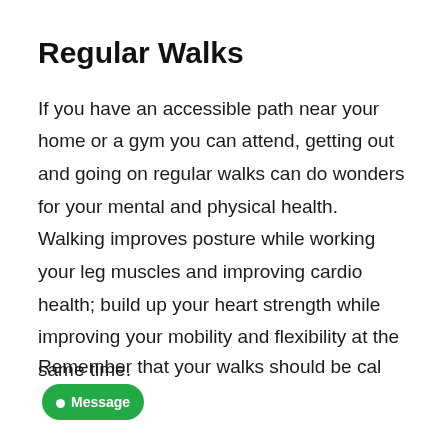Regular Walks
If you have an accessible path near your home or a gym you can attend, getting out and going on regular walks can do wonders for your mental and physical health. Walking improves posture while working your leg muscles and improving cardio health; build up your heart strength while improving your mobility and flexibility at the same time.
Remember that your walks should be cal